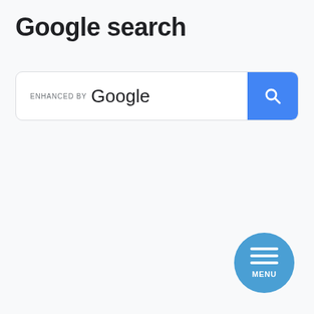Google search
[Figure (screenshot): Google custom search bar with 'ENHANCED BY Google' label and blue search button on the right]
[Figure (other): Blue circular menu button with three horizontal white lines and 'MENU' text label]